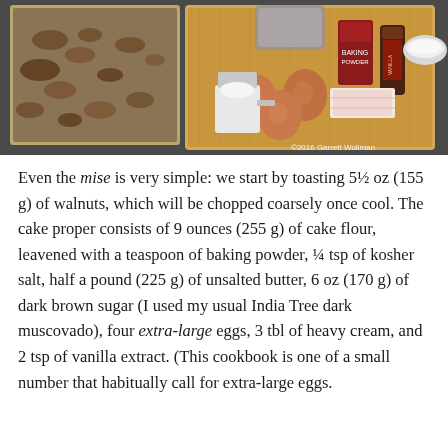[Figure (photo): Photograph of baking ingredients on a wooden cutting board: three brown eggs, a measuring cup with white substance, toasted walnuts on a baking sheet, a bottle of vanilla extract, baking powder container, and a bowl of flour. Copyright watermark '©2016 Garrett Wollman' in lower right corner.]
Even the mise is very simple: we start by toasting 5½ oz (155 g) of walnuts, which will be chopped coarsely once cool. The cake proper consists of 9 ounces (255 g) of cake flour, leavened with a teaspoon of baking powder, ¼ tsp of kosher salt, half a pound (225 g) of unsalted butter, 6 oz (170 g) of dark brown sugar (I used my usual India Tree dark muscovado), four extra-large eggs, 3 tbl of heavy cream, and 2 tsp of vanilla extract. (This cookbook is one of a small number that habitually call for extra-large eggs.